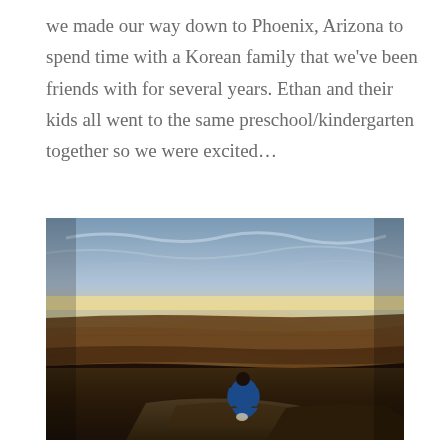we made our way down to Phoenix, Arizona to spend time with a Korean family that we've been friends with for several years. Ethan and their kids all went to the same preschool/kindergarten together so we were excited...
[Figure (photo): A person in a blue jacket sits on a rocky outcrop at the edge of the Grand Canyon, silhouetted against a dramatic sunset sky with orange and yellow hues on the horizon and dark canyon layers below.]